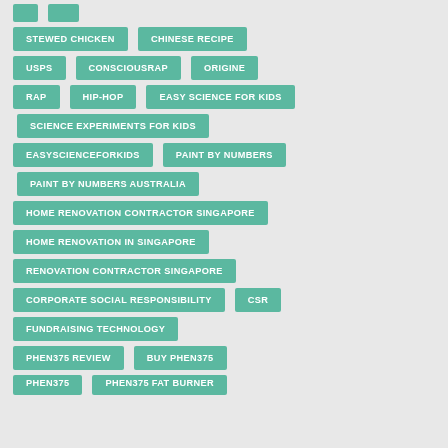STEWED CHICKEN
CHINESE RECIPE
USPS
CONSCIOUSRAP
ORIGINE
RAP
HIP-HOP
EASY SCIENCE FOR KIDS
SCIENCE EXPERIMENTS FOR KIDS
EASYSCIENCEFORKIDS
PAINT BY NUMBERS
PAINT BY NUMBERS AUSTRALIA
HOME RENOVATION CONTRACTOR SINGAPORE
HOME RENOVATION IN SINGAPORE
RENOVATION CONTRACTOR SINGAPORE
CORPORATE SOCIAL RESPONSIBILITY
CSR
FUNDRAISING TECHNOLOGY
PHEN375 REVIEW
BUY PHEN375
PHEN375
PHEN375 FAT BURNER